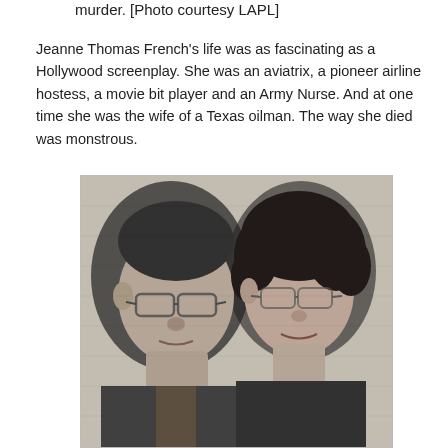murder. [Photo courtesy LAPL]
Jeanne Thomas French's life was as fascinating as a Hollywood screenplay. She was an aviatrix, a pioneer airline hostess, a movie bit player and an Army Nurse. And at one time she was the wife of a Texas oilman. The way she died was monstrous.
[Figure (photo): Black and white photograph of a man and woman posing together, both wearing glasses. The man is on the left and the woman is on the right with curly hair.]